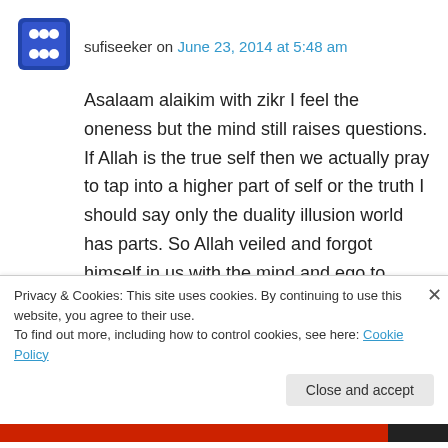sufiseeker on June 23, 2014 at 5:48 am
Asalaam alaikim with zikr I feel the oneness but the mind still raises questions. If Allah is the true self then we actually pray to tap into a higher part of self or the truth I should say only the duality illusion world has parts. So Allah veiled and forgot himself in us with the mind and ego to experience ? Im still having trouble seeing the true self in wicked people though and what about
Privacy & Cookies: This site uses cookies. By continuing to use this website, you agree to their use. To find out more, including how to control cookies, see here: Cookie Policy